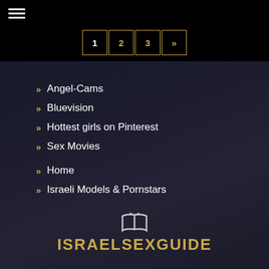[Figure (other): Hamburger menu icon (three horizontal white lines)]
[Figure (other): Pagination buttons: 1, 2, 3, »]
» Angel-Cams
» Bluevision
» Hottest girls on Pinterest
» Sex Movies
» Home
» Israeli Models & Pornstars
[Figure (logo): IsraelSexGuide logo with open book icon above gold stylized text ISRAELSEXGUIDE]